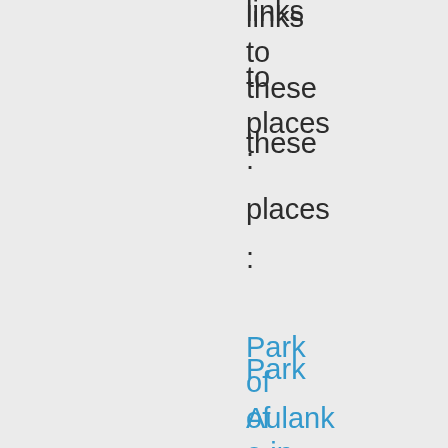links to these places:
Park of Aulanko in Hämeenlinna
Casle of Häme...